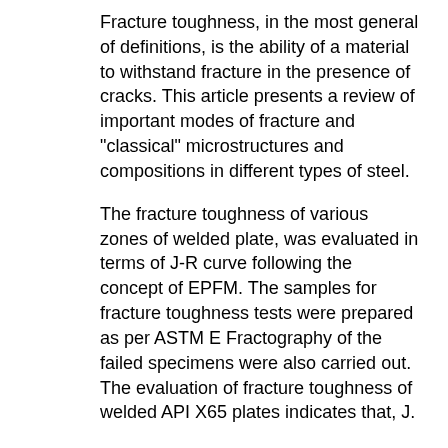Fracture toughness, in the most general of definitions, is the ability of a material to withstand fracture in the presence of cracks. This article presents a review of important modes of fracture and "classical" microstructures and compositions in different types of steel.
The fracture toughness of various zones of welded plate, was evaluated in terms of J-R curve following the concept of EPFM. The samples for fracture toughness tests were prepared as per ASTM E Fractography of the failed specimens were also carried out. The evaluation of fracture toughness of welded API X65 plates indicates that, J.
Comparison of Fracture Toughness Values from an IPIRG-1 Large-Scale Pipe System Test and C(T) Specimens on Wrought TP Stainless Steel," Fatigue, Flaw Evaluation. fracture-toughness testing of high-strength oetal». Fracture toughness, as detenlned by plane-strain testing methods, has been used only to a United extent as a criterion in qualifying steels for»ili- tary applications.
Because of the newness of the tests, only a United amount of data is available on the d...